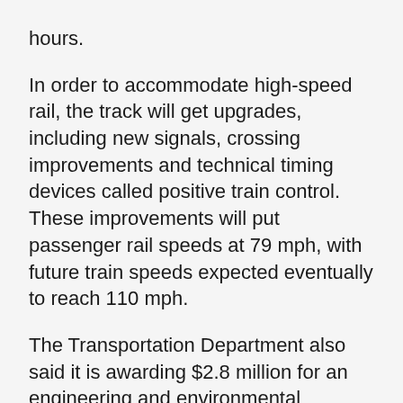hours.
In order to accommodate high-speed rail, the track will get upgrades, including new signals, crossing improvements and technical timing devices called positive train control. These improvements will put passenger rail speeds at 79 mph, with future train speeds expected eventually to reach 110 mph.
The Transportation Department also said it is awarding $2.8 million for an engineering and environmental analysis to construct a new high-speed rail station in Ann Arbor, which will better serve passengers and allow more than one train to serve the station simultaneously.